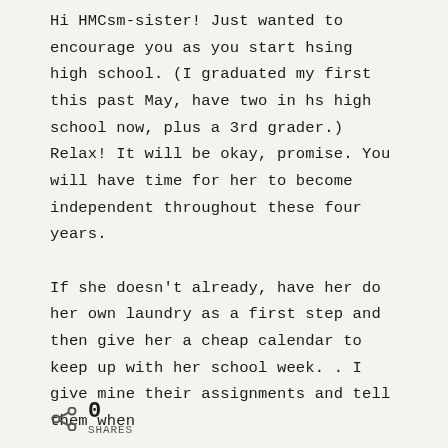Hi HMCsm-sister! Just wanted to encourage you as you start hsing high school. (I graduated my first this past May, have two in hs high school now, plus a 3rd grader.) Relax! It will be okay, promise. You will have time for her to become independent throughout these four years.

If she doesn't already, have her do her own laundry as a first step and then give her a cheap calendar to keep up with her school week. . I give mine their assignments and tell them when
0 SHARES